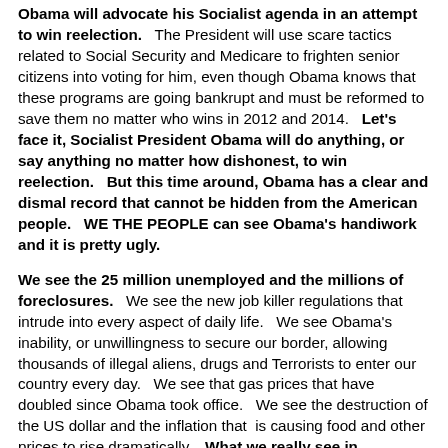Obama will advocate his Socialist agenda in an attempt to win reelection. The President will use scare tactics related to Social Security and Medicare to frighten senior citizens into voting for him, even though Obama knows that these programs are going bankrupt and must be reformed to save them no matter who wins in 2012 and 2014. Let's face it, Socialist President Obama will do anything, or say anything no matter how dishonest, to win reelection. But this time around, Obama has a clear and dismal record that cannot be hidden from the American people. WE THE PEOPLE can see Obama's handiwork and it is pretty ugly.
We see the 25 million unemployed and the millions of foreclosures. We see the new job killer regulations that intrude into every aspect of daily life. We see Obama's inability, or unwillingness to secure our border, allowing thousands of illegal aliens, drugs and Terrorists to enter our country every day. We see that gas prices that have doubled since Obama took office. We see the destruction of the US dollar and the inflation that is causing food and other prices to rise dramatically. What we really see in President Obama is Jimmy Carteralled, well beyond the...